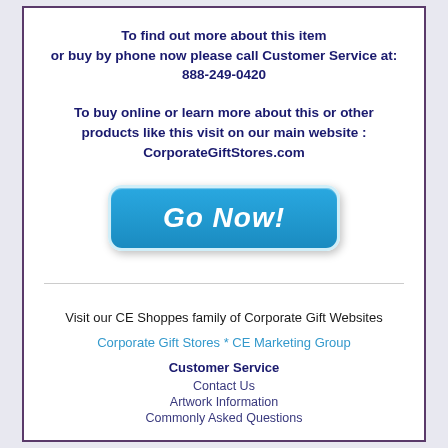To find out more about this item or buy by phone now please call Customer Service at: 888-249-0420
To buy online or learn more about this or other products like this visit on our main website : CorporateGiftStores.com
[Figure (other): A blue rounded button with italic bold white text reading 'Go Now!']
Visit our CE Shoppes family of Corporate Gift Websites
Corporate Gift Stores * CE Marketing Group
Customer Service
Contact Us
Artwork Information
Commonly Asked Questions